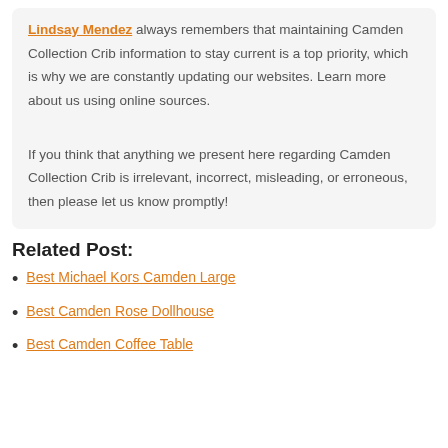Lindsay Mendez always remembers that maintaining Camden Collection Crib information to stay current is a top priority, which is why we are constantly updating our websites. Learn more about us using online sources.
If you think that anything we present here regarding Camden Collection Crib is irrelevant, incorrect, misleading, or erroneous, then please let us know promptly!
Related Post:
Best Michael Kors Camden Large
Best Camden Rose Dollhouse
Best Camden Coffee Table